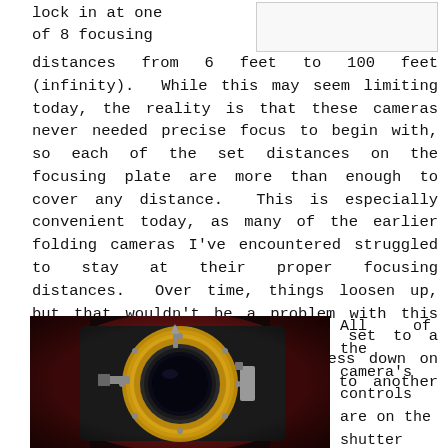lock in at one of 8 focusing distances from 6 feet to 100 feet (infinity). While this may seem limiting today, the reality is that these cameras never needed precise focus to begin with, so each of the set distances on the focusing plate are more than enough to cover any distance. This is especially convenient today, as many of the earlier folding cameras I've encountered struggled to stay at their proper focusing distances. Over time, things loosen up, but that wouldn't be a problem with this camera as once the camera is set to a specific distance, you must press down on the locking lever to move it to another distance.
[Figure (photo): Close-up photo of an antique camera shutter/lens mechanism. The shutter is brass/gold colored, circular, mounted on a black body. A vintage lens is visible in the center. The camera appears to be sitting on a dark red/maroon surface. Metal levers and controls are visible around the lens.]
All of the camera's controls are on the shutter itself. At the 12 o'clock